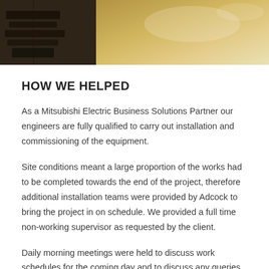[Figure (photo): Partial view of equipment or tools on a metallic surface, appears to be industrial/engineering equipment photographed from above.]
HOW WE HELPED
As a Mitsubishi Electric Business Solutions Partner our engineers are fully qualified to carry out installation and commissioning of the equipment.
Site conditions meant a large proportion of the works had to be completed towards the end of the project, therefore additional installation teams were provided by Adcock to bring the project in on schedule. We provided a full time non-working supervisor as requested by the client.
Daily morning meetings were held to discuss work schedules for the coming day and to discuss any queries, health and safety issues